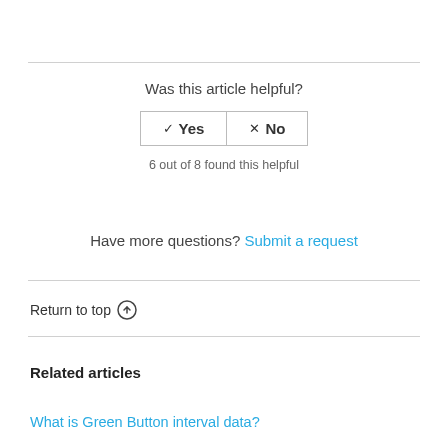Was this article helpful?
✓ Yes  ✕ No
6 out of 8 found this helpful
Have more questions? Submit a request
Return to top ↑
Related articles
What is Green Button interval data?